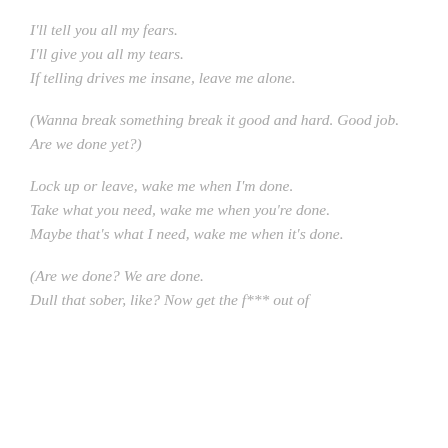I'll tell you all my fears.
I'll give you all my tears.
If telling drives me insane, leave me alone.
(Wanna break something break it good and hard. Good job.
Are we done yet?)
Lock up or leave, wake me when I'm done.
Take what you need, wake me when you're done.
Maybe that's what I need, wake me when it's done.
(Are we done? We are done.
Dull that sober, like? Now get the f*** out of